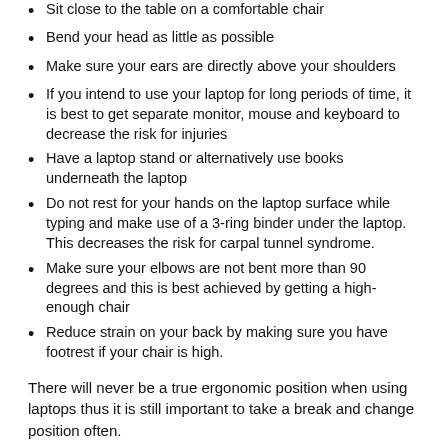Sit close to the table on a comfortable chair
Bend your head as little as possible
Make sure your ears are directly above your shoulders
If you intend to use your laptop for long periods of time, it is best to get separate monitor, mouse and keyboard to decrease the risk for injuries
Have a laptop stand or alternatively use books underneath the laptop
Do not rest for your hands on the laptop surface while typing and make use of a 3-ring binder under the laptop. This decreases the risk for carpal tunnel syndrome.
Make sure your elbows are not bent more than 90 degrees and this is best achieved by getting a high-enough chair
Reduce strain on your back by making sure you have footrest if your chair is high.
There will never be a true ergonomic position when using laptops thus it is still important to take a break and change position often.
« Previous Posts – Next Posts »
• Third D...